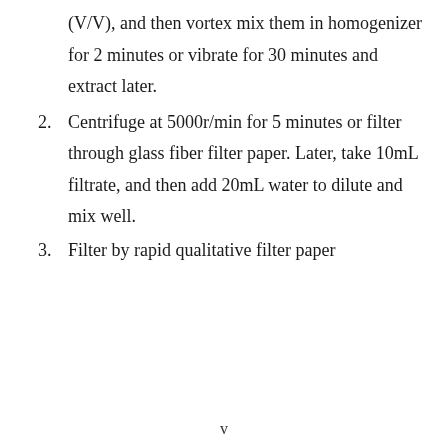(V/V), and then vortex mix them in homogenizer for 2 minutes or vibrate for 30 minutes and extract later.
2. Centrifuge at 5000r/min for 5 minutes or filter through glass fiber filter paper. Later, take 10mL filtrate, and then add 20mL water to dilute and mix well.
3. Filter by rapid qualitative filter paper
v